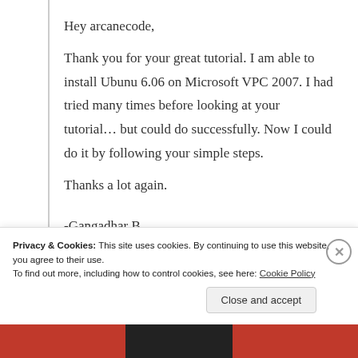Hey arcanecode,

Thank you for your great tutorial. I am able to install Ubunu 6.06 on Microsoft VPC 2007. I had tried many times before looking at your tutorial… but could do successfully. Now I could do it by following your simple steps.
Thanks a lot again.

-Gangadhar B.
Privacy & Cookies: This site uses cookies. By continuing to use this website, you agree to their use.
To find out more, including how to control cookies, see here: Cookie Policy